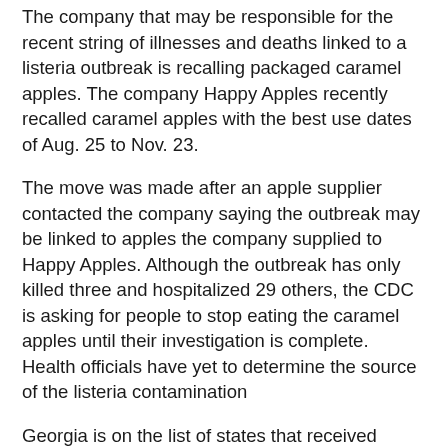The company that may be responsible for the recent string of illnesses and deaths linked to a listeria outbreak is recalling packaged caramel apples. The company Happy Apples recently recalled caramel apples with the best use dates of Aug. 25 to Nov. 23.
The move was made after an apple supplier contacted the company saying the outbreak may be linked to apples the company supplied to Happy Apples. Although the outbreak has only killed three and hospitalized 29 others, the CDC is asking for people to stop eating the caramel apples until their investigation is complete. Health officials have yet to determine the source of the listeria contamination
Georgia is on the list of states that received Happy Apple's caramel apples although there have been no listeria illnesses reported from the state. Georgia like many other states includes a strict liability framework in their product liability laws. This means that one only